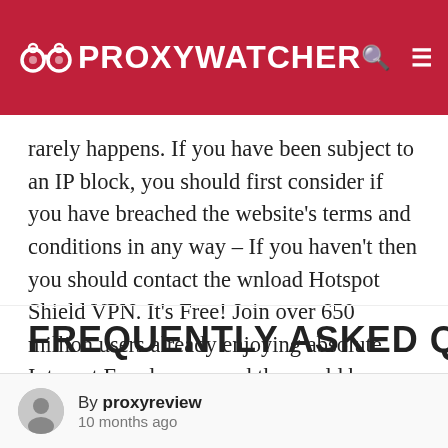PROXYWATCHER
rarely happens. If you have been subject to an IP block, you should first consider if you have breached the website's terms and conditions in any way – If you haven't then you should contact the wnload Hotspot Shield VPN. It's Free! Join over 650 million users already enjoying absolute Internet Freedom around the world by downloading Hotspot Shield Hotspot Shield
FREQUENTLY ASKED QUESTI
By proxyreview 10 months ago